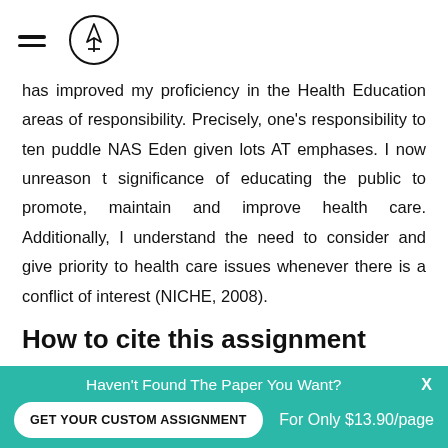[hamburger menu icon] [logo icon]
has improved my proficiency in the Health Education areas of responsibility. Precisely, one's responsibility to ten puddle NAS Eden given lots AT emphases. I now unreason t significance of educating the public to promote, maintain and improve health care. Additionally, I understand the need to consider and give priority to health care issues whenever there is a conflict of interest (NICHE, 2008).
How to cite this assignment
Haven't Found The Paper You Want?
GET YOUR CUSTOM ASSIGNMENT
For Only $13.90/page